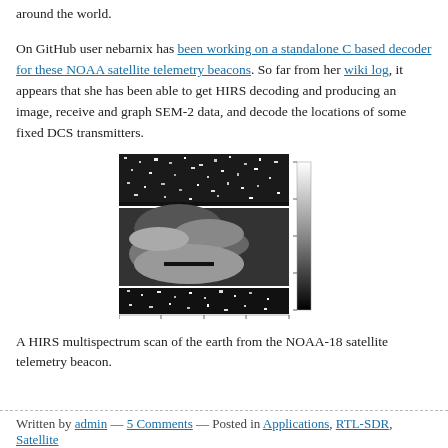around the world.
On GitHub user nebarnix has been working on a standalone C based decoder for these NOAA satellite telemetry beacons. So far from her wiki log, it appears that she has been able to get HIRS decoding and producing an image, receive and graph SEM-2 data, and decode the locations of some fixed DCS transmitters.
[Figure (photo): A HIRS multispectrum scan image of the earth from the NOAA-18 satellite telemetry beacon, showing a grayscale image with a color scale bar on the right.]
A HIRS multispectrum scan of the earth from the NOAA-18 satellite telemetry beacon.
Written by admin — 5 Comments — Posted in Applications, RTL-SDR, Satellite